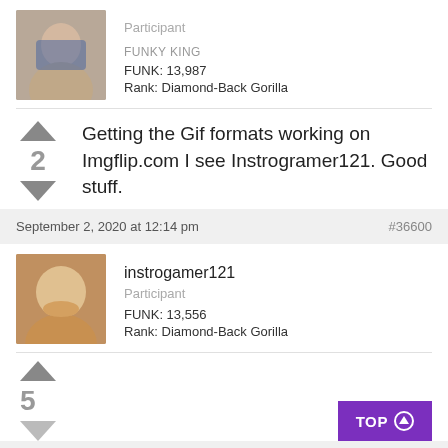Participant
FUNKY KING
FUNK: 13,987
Rank: Diamond-Back Gorilla
Getting the Gif formats working on Imgflip.com I see Instrogramer121. Good stuff.
September 2, 2020 at 12:14 pm
#36600
instrogamer121
Participant
FUNK: 13,556
Rank: Diamond-Back Gorilla
TOP